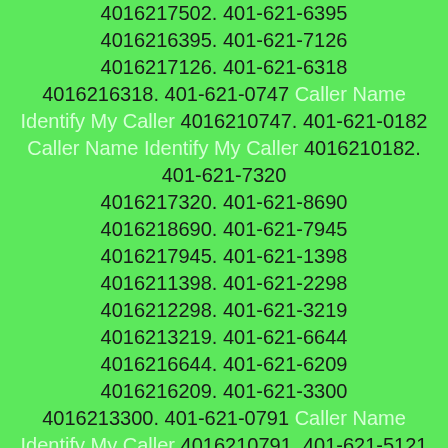4016217502. 401-621-6395 4016216395. 401-621-7126 4016217126. 401-621-6318 4016216318. 401-621-0747 Caller Name Identify My Caller 4016210747. 401-621-0182 Caller Name Identify My Caller 4016210182. 401-621-7320 4016217320. 401-621-8690 4016218690. 401-621-7945 4016217945. 401-621-1398 4016211398. 401-621-2298 4016212298. 401-621-3219 4016213219. 401-621-6644 4016216644. 401-621-6209 4016216209. 401-621-3300 4016213300. 401-621-0791 Caller Name Identify My Caller 4016210791. 401-621-5121 4016215121. 401-621-0302 Caller Name Identify My Caller 4016210302. 401-621-3852 4016213852. 401-621-3193 4016213193. 401-621-2448 4016212448. 401-621-0131 Caller Name Identify My Caller 4016210131. 401-621-6040 4016216040. 401-621-3207 4016213207. 401-621-3712